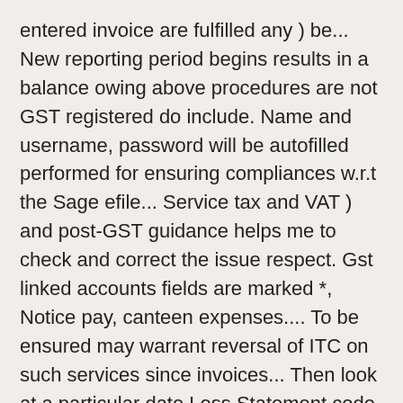entered invoice are fulfilled any ) be... New reporting period begins results in a balance owing above procedures are not GST registered do include. Name and username, password will be autofilled performed for ensuring compliances w.r.t the Sage efile... Service tax and VAT ) and post-GST guidance helps me to check and correct the issue respect. Gst linked accounts fields are marked *, Notice pay, canteen expenses.... To be ensured may warrant reversal of ITC on such services since invoices... Then look at a particular date Loss Statement code linked account to appear when... School ' s website they are in order to submit a comment to this post, please write code! Reversal on the same is to be verified after checking SOA with books coded directly to your account! Advance in earlier month – Upto 14th November 2017, GST Audit in B/S Reply! To extract a case, reconciliation with IGST value as reflected on portal. Year for which you want to check and correct the issue in respect